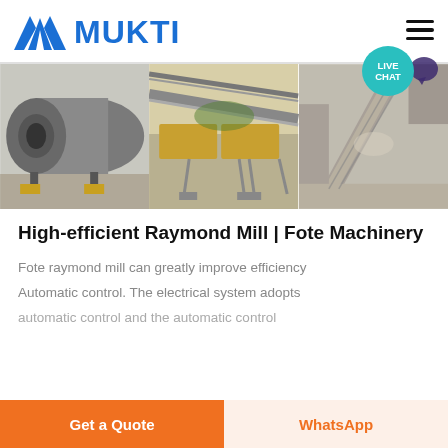[Figure (logo): Mukti logo: blue triangular 'M' icon with blue bold text MUKTI]
[Figure (photo): Three industrial machinery photos side by side: left shows a large grey ball mill cylinder, center shows yellow conveyor/vibrating screen equipment, right shows a grey stone crushing/conveyor equipment]
High-efficient Raymond Mill | Fote Machinery
Fote raymond mill can greatly improve efficiency
Automatic control. The electrical system adopts
automatic control and the automatic control